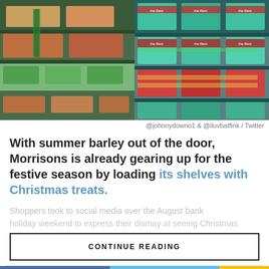[Figure (photo): Two side-by-side photos of supermarket shelves stocked with Christmas food products. Left photo shows Morrisons shelves with various packaged goods. Right photo shows colorful festive boxes labeled 'The Best'.]
@johnnydowno1 & @iluvbatfink / Twitter
With summer barley out of the door, Morrisons is already gearing up for the festive season by loading its shelves with Christmas treats.
Shoppers took to social media over the August bank...
CONTINUE READING
SHARE
TWEET
...
1. HOMES FOR SALE BY OWNER